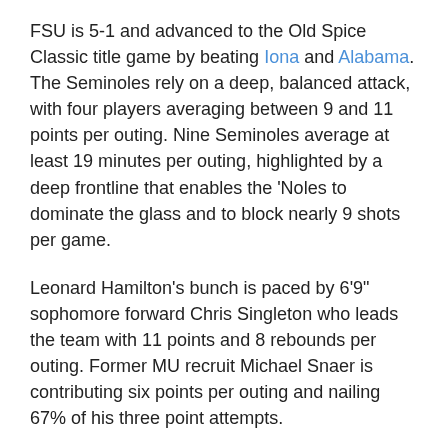FSU is 5-1 and advanced to the Old Spice Classic title game by beating Iona and Alabama. The Seminoles rely on a deep, balanced attack, with four players averaging between 9 and 11 points per outing. Nine Seminoles average at least 19 minutes per outing, highlighted by a deep frontline that enables the 'Noles to dominate the glass and to block nearly 9 shots per game.
Leonard Hamilton's bunch is paced by 6'9" sophomore forward Chris Singleton who leads the team with 11 points and 8 rebounds per outing. Former MU recruit Michael Snaer is contributing six points per outing and nailing 67% of his three point attempts.
Marquette will rely on the terrific tandem of Lazar Hayward and Jimmy Butler to set the pace in tonight's game. The prolific duo averages a combined 36 points and 13 rebounds per outing. While Hayward's consistent production is no surprise to Marquette fans, Butler has been a revelation in the season's early stages. The Texas native is hitting a remarkable 65% from the field and is one of the nation's premier offensive rebounders. A full 45% of Butler's